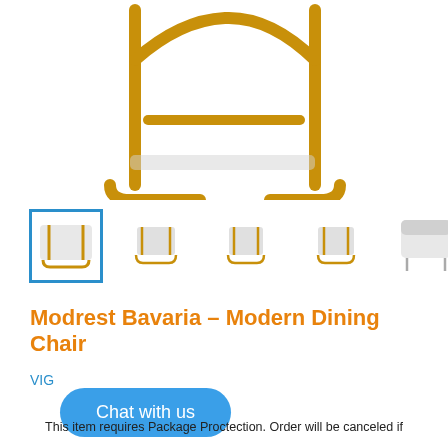[Figure (photo): Close-up photo of a modern dining chair with gold/brass tubular metal frame base, bottom portion of the chair visible showing the curved cantilever-style legs]
[Figure (photo): Row of 5 thumbnail images of the Modrest Bavaria Modern Dining Chair from various angles; the first thumbnail is selected with a blue border]
Modrest Bavaria – Modern Dining Chair
VIG
Chat with us
This item requires Package Proctection. Order will be canceled if